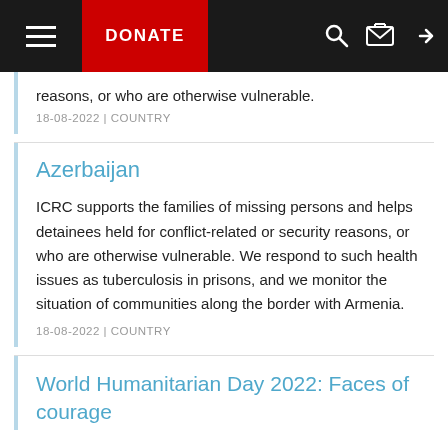DONATE
reasons, or who are otherwise vulnerable.
18-08-2022 | COUNTRY
Azerbaijan
ICRC supports the families of missing persons and helps detainees held for conflict-related or security reasons, or who are otherwise vulnerable. We respond to such health issues as tuberculosis in prisons, and we monitor the situation of communities along the border with Armenia.
18-08-2022 | COUNTRY
World Humanitarian Day 2022: Faces of courage